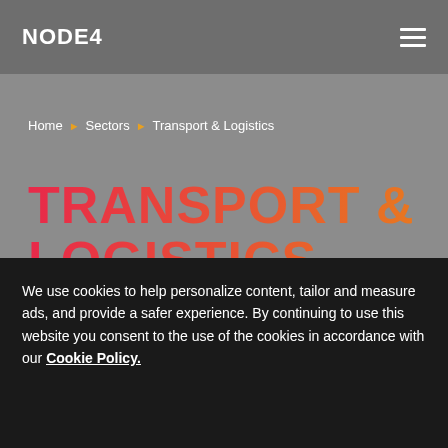NODE4
Home › Sectors › Transport & Logistics
TRANSPORT & LOGISTICS
Delivering on time
We use cookies to help personalize content, tailor and measure ads, and provide a safer experience. By continuing to use this website you consent to the use of the cookies in accordance with our Cookie Policy.